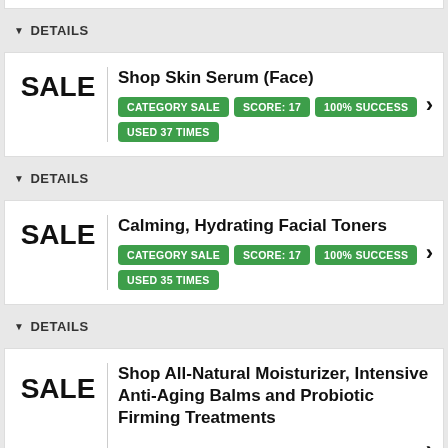DETAILS
Shop Skin Serum (Face) | CATEGORY SALE | SCORE: 17 | 100% SUCCESS | USED 37 TIMES
DETAILS
Calming, Hydrating Facial Toners | CATEGORY SALE | SCORE: 17 | 100% SUCCESS | USED 35 TIMES
DETAILS
Shop All-Natural Moisturizer, Intensive Anti-Aging Balms and Probiotic Firming Treatments